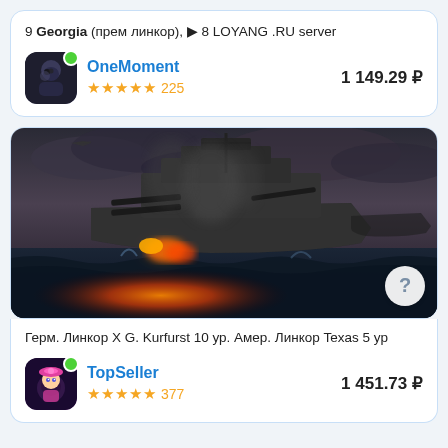9 Georgia (прем линкор), ▶ 8 LOYANG .RU server
OneMoment ★★★★★ 225   1 149.29 ₽
[Figure (photo): World of Warships battle scene showing a large battleship firing guns amid ocean waves with explosions, smoke, aircraft, and another ship in the background. A question mark button is shown in the bottom right corner.]
Герм. Линкор X G. Kurfurst 10 ур. Амер. Линкор Texas 5 ур
TopSeller ★★★★★ 377   1 451.73 ₽